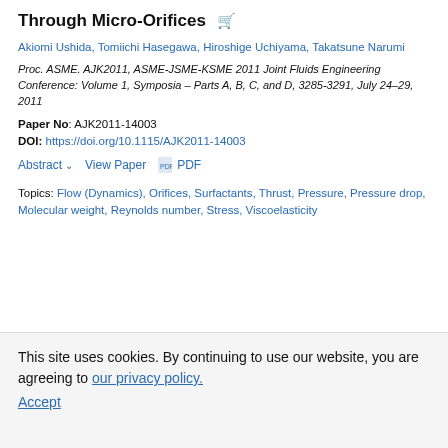Through Micro-Orifices
Akiomi Ushida, Tomiichi Hasegawa, Hiroshige Uchiyama, Takatsune Narumi
Proc. ASME. AJK2011, ASME-JSME-KSME 2011 Joint Fluids Engineering Conference: Volume 1, Symposia – Parts A, B, C, and D, 3285-3291, July 24–29, 2011
Paper No: AJK2011-14003
DOI: https://doi.org/10.1115/AJK2011-14003
Abstract  View Paper  PDF
Topics: Flow (Dynamics), Orifices, Surfactants, Thrust, Pressure, Pressure drop, Molecular weight, Reynolds number, Stress, Viscoelasticity
This site uses cookies. By continuing to use our website, you are agreeing to our privacy policy. Accept